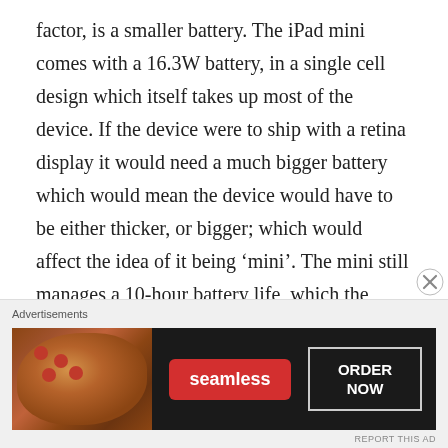factor, is a smaller battery. The iPad mini comes with a 16.3W battery, in a single cell design which itself takes up most of the device. If the device were to ship with a retina display it would need a much bigger battery which would mean the device would have to be either thicker, or bigger; which would affect the idea of it being ‘mini’. The mini still manages a 10-hour battery life, which the retina iPad manages with a 42.5W battery. The CPU in the mini is a dual-core, the same as the iPad 2 however the retina iPad comes with a A6X CPU, which is powerful enough to drive the retina screen, the A5 however wouldn’t be able to offer the
[Figure (other): Advertisement banner for Seamless food delivery service with pizza image on left, Seamless red badge in center, and ORDER NOW button on right, on dark background.]